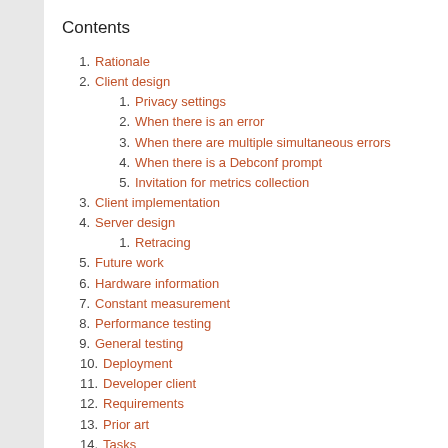Contents
1. Rationale
2. Client design
2.1. Privacy settings
2.2. When there is an error
2.3. When there are multiple simultaneous errors
2.4. When there is a Debconf prompt
2.5. Invitation for metrics collection
3. Client implementation
4. Server design
4.1. Retracing
5. Future work
6. Hardware information
7. Constant measurement
8. Performance testing
9. General testing
10. Deployment
11. Developer client
12. Requirements
13. Prior art
14. Tasks